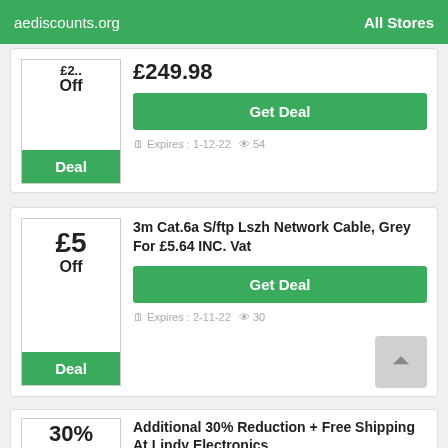aediscounts.org   All Stores
£249.98
Off
Deal
Get Deal
Expires : 1-12-22   54
£5 Off
Deal
3m Cat.6a S/ftp Lszh Network Cable, Grey For £5.64 INC. Vat
Get Deal
Expires : 2-11-22   30
30%
Additional 30% Reduction + Free Shipping At Lindy Electronics